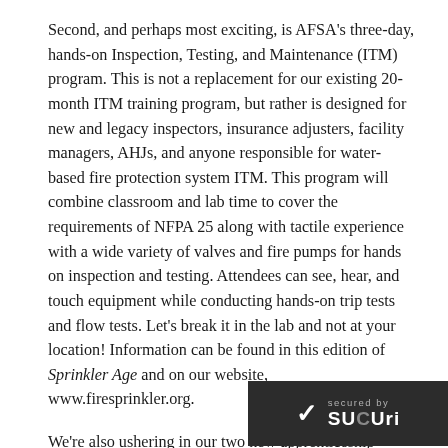Second, and perhaps most exciting, is AFSA's three-day, hands-on Inspection, Testing, and Maintenance (ITM) program. This is not a replacement for our existing 20-month ITM training program, but rather is designed for new and legacy inspectors, insurance adjusters, facility managers, AHJs, and anyone responsible for water-based fire protection system ITM. This program will combine classroom and lab time to cover the requirements of NFPA 25 along with tactile experience with a wide variety of valves and fire pumps for hands on inspection and testing. Attendees can see, hear, and touch equipment while conducting hands-on trip tests and flow tests. Let's break it in the lab and not at your location! Information can be found in this edition of Sprinkler Age and on our website, www.firesprinkler.org.
We're also ushering in our two new apprenticeship training opportunities. The first is our virtual classroom for the book portion of apprenticeship at every level. these virtual classes will be scheduled fo They will be available as live training or as recorded content
[Figure (other): Sucuri website security badge showing a checkmark and 'secured by Sucuri' text on a dark background]